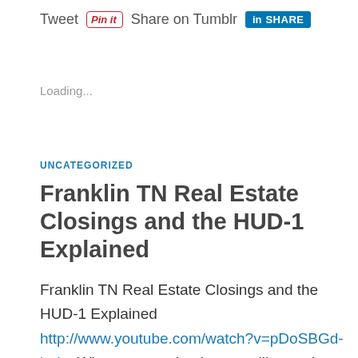Tweet  Pin it  Share on Tumblr  in SHARE
Loading...
UNCATEGORIZED
Franklin TN Real Estate Closings and the HUD-1 Explained
Franklin TN Real Estate Closings and the HUD-1 Explained http://www.youtube.com/watch?v=pDoSBGd-buk   When you are buying or selling real estate in Franklin Tennessee you will want to have a Title company perform the closing and handle the